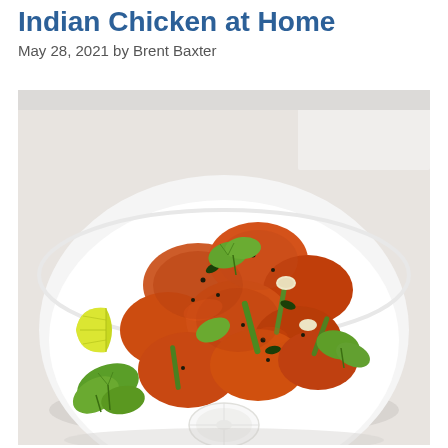Indian Chicken at Home
May 28, 2021 by Brent Baxter
[Figure (photo): A white bowl filled with spiced Indian-style fried chicken pieces garnished with fresh cilantro, green chili peppers, garlic cloves, and a lemon wedge. A white radish slice rests at the bottom front of the bowl. The background is white/light gray.]